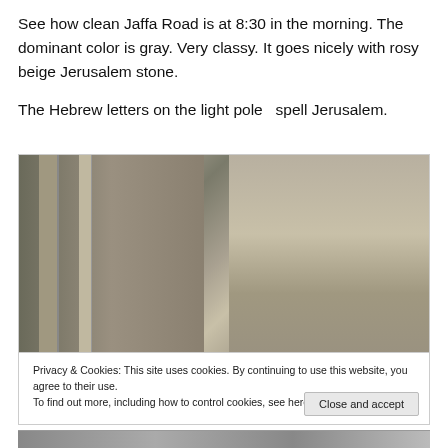See how clean Jaffa Road is at 8:30 in the morning. The dominant color is gray. Very classy. It goes nicely with rosy beige Jerusalem stone.
The Hebrew letters on the light pole  spell Jerusalem.
[Figure (photo): Street-level photo of Jaffa Road in Jerusalem, showing a clean road with columns/pillars and stone architecture. A person with a stroller is visible on the left. The right half shows a close-up of carved Jerusalem stone with Hebrew letters.]
Privacy & Cookies: This site uses cookies. By continuing to use this website, you agree to their use.
To find out more, including how to control cookies, see here: Cookie Policy